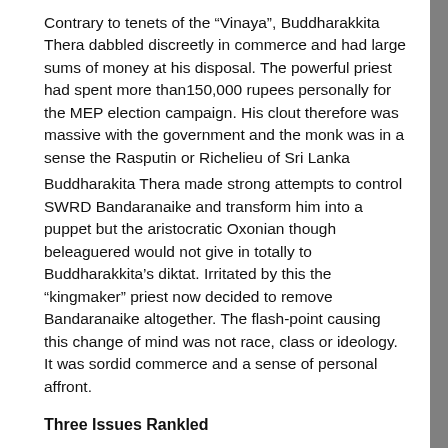Contrary to tenets of the “Vinaya”, Buddharakkita Thera dabbled discreetly in commerce and had large sums of money at his disposal. The powerful priest had spent more than150,000 rupees personally for the MEP election campaign. His clout therefore was massive with the government and the monk was in a sense the Rasputin or Richelieu of Sri Lanka
Buddharakita Thera made strong attempts to control SWRD Bandaranaike and transform him into a puppet but the aristocratic Oxonian though beleaguered would not give in totally to Buddharakkita’s diktat. Irritated by this the “kingmaker” priest now decided to remove Bandaranaike altogether. The flash-point causing this change of mind was not race, class or ideology. It was sordid commerce and a sense of personal affront.
Three Issues Rankled
Three issues rankled. One was the Prime Minister’s refusal